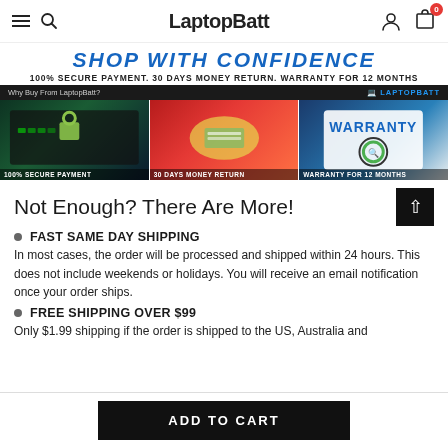LaptopBatt
[Figure (screenshot): Promotional banner reading SHOP WITH CONFIDENCE, 100% SECURE PAYMENT. 30 DAYS MONEY RETURN. WARRANTY FOR 12 MONTHS]
[Figure (photo): Three side-by-side promotional images: 100% SECURE PAYMENT (laptop with lock), 30 DAYS MONEY RETURN (hands with cash), WARRANTY FOR 12 MONTHS (tablet showing warranty)]
Not Enough? There Are More!
FAST SAME DAY SHIPPING
In most cases, the order will be processed and shipped within 24 hours. This does not include weekends or holidays. You will receive an email notification once your order ships.
FREE SHIPPING OVER $99
Only $1.99 shipping if the order is shipped to the US, Australia and
ADD TO CART